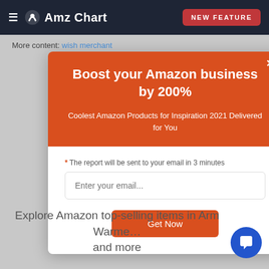AmzChart — NEW FEATURE
More content: wish merchant
Boost your Amazon business by 200%
Coolest Amazon Products for Inspiration 2021 Delivered for You
* The report will be sent to your email in 3 minutes
Enter your email...
Get Now
Explore Amazon top-selling items in Arm Warme… and more